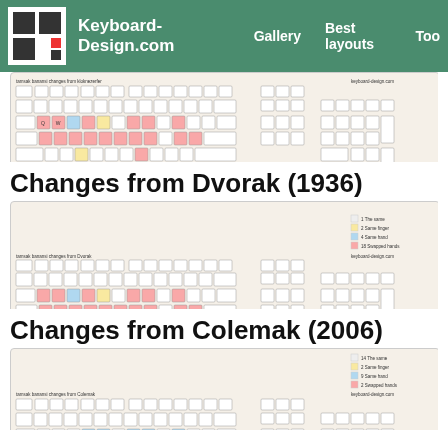Keyboard-Design.com  Gallery  Best layouts  Too
[Figure (screenshot): Keyboard layout diagram showing changes from modified Klausnerfer, with colored keys indicating same finger, same hand, swapped hands changes]
Changes from Dvorak (1936)
[Figure (screenshot): Keyboard layout diagram showing changes from Dvorak (1936), with colored keys indicating same finger, same hand, swapped hands changes]
Changes from Colemak (2006)
[Figure (screenshot): Keyboard layout diagram showing changes from Colemak (2006), with colored keys indicating same finger, same hand, swapped hands changes]